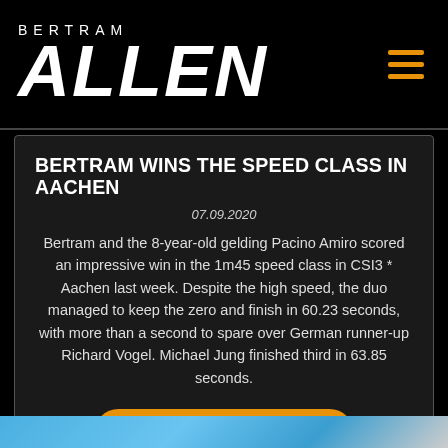BERTRAM ALLEN
BERTRAM WINS THE SPEED CLASS IN AACHEN
07.09.2020
Bertram and the 8-year-old gelding Pacino Amiro scored an impressive win in the 1m45 speed class in CSI3 * Aachen last week. Despite the high speed, the duo managed to keep the zero and finish in 60.23 seconds, with more than a second to spare over German runner-up Richard Vogel. Michael Jung finished third in 63.85 seconds.
Read more
[Figure (photo): Bottom strip showing a partial photo, blue sky and partial horse/rider image]